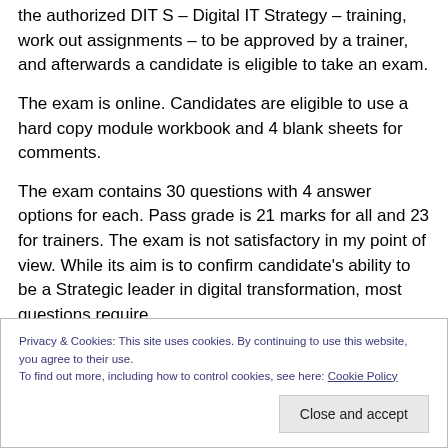the authorized DIT S – Digital IT Strategy – training, work out assignments – to be approved by a trainer, and afterwards a candidate is eligible to take an exam.
The exam is online. Candidates are eligible to use a hard copy module workbook and 4 blank sheets for comments.
The exam contains 30 questions with 4 answer options for each. Pass grade is 21 marks for all and 23 for trainers. The exam is not satisfactory in my point of view. While its aim is to confirm candidate's ability to be a Strategic leader in digital transformation, most questions require
Privacy & Cookies: This site uses cookies. By continuing to use this website, you agree to their use.
To find out more, including how to control cookies, see here: Cookie Policy